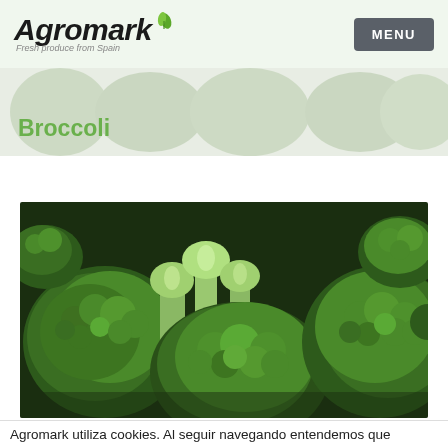Agromark Fresh produce from Spain | MENU
Broccoli
[Figure (photo): Close-up photograph of multiple fresh broccoli heads with dark green florets and pale green stems, filling the entire frame]
Agromark utiliza cookies. Al seguir navegando entendemos que